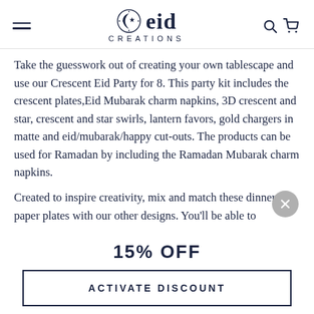eid CREATIONS
Take the guesswork out of creating your own tablescape and use our Crescent Eid Party for 8. This party kit includes the crescent plates,Eid Mubarak charm napkins, 3D crescent and star, crescent and star swirls, lantern favors, gold chargers in matte and eid/mubarak/happy cut-outs. The products can be used for Ramadan by including the Ramadan Mubarak charm napkins.
Created to inspire creativity, mix and match these dinner paper plates with our other designs. You'll be able to
15% OFF
ACTIVATE DISCOUNT